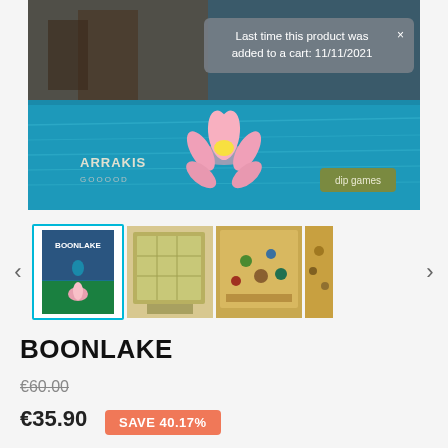[Figure (screenshot): Main product image showing Boonlake board game with lotus flower on teal water background, Arrakis logo bottom left, dip games button bottom right]
Last time this product was added to a cart: 11/11/2021
[Figure (screenshot): Thumbnail row with four images of Boonlake board game: box cover (active, highlighted in cyan border), board layout, gameplay pieces, and partial fourth image]
BOONLAKE
€60.00
€35.90
SAVE 40.17%